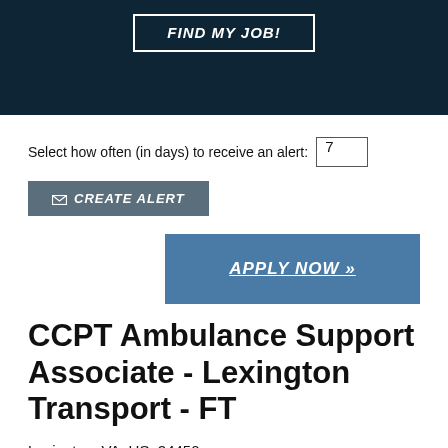[Figure (screenshot): Dark navy header bar with a bordered button labeled FIND MY JOB! in white italic bold text]
Select how often (in days) to receive an alert: 7
✉ CREATE ALERT
APPLY NOW »
CCPT Ambulance Support Associate - Lexington Transport - FT
Lexington, VA, US, 24450